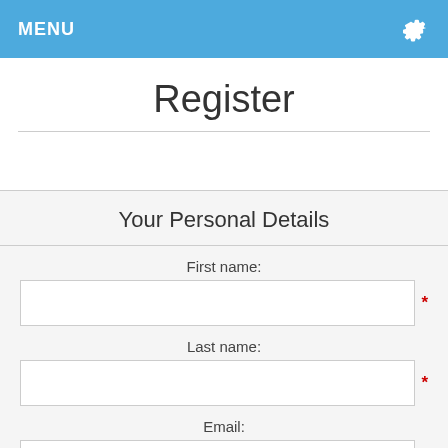MENU
Register
Your Personal Details
First name:
Last name:
Email: